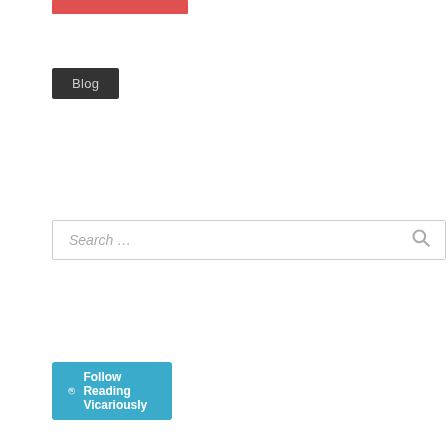[Figure (other): Red horizontal bar at top of page]
Blog
[Figure (other): Search box with placeholder text 'Search ...' and search icon]
[Figure (other): Cyan button with WordPress icon and text 'Follow Reading Vicariously']
LET'S GET SOCIAL!
[Figure (other): Reedsy.com banner - blue banner with bird logo and text 'Available to hire on reedsy.com']